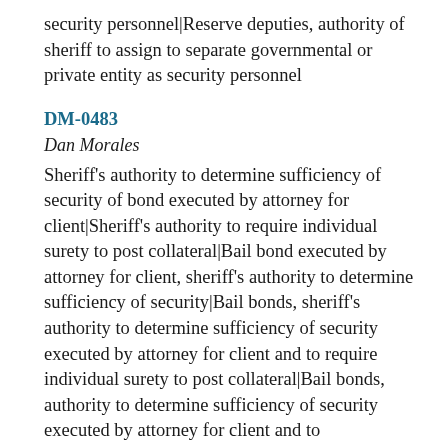security personnel|Reserve deputies, authority of sheriff to assign to separate governmental or private entity as security personnel
DM-0483
Dan Morales
Sheriff's authority to determine sufficiency of security of bond executed by attorney for client|Sheriff's authority to require individual surety to post collateral|Bail bond executed by attorney for client, sheriff's authority to determine sufficiency of security|Bail bonds, sheriff's authority to determine sufficiency of security executed by attorney for client and to require individual surety to post collateral|Bail bonds, authority to determine sufficiency of security executed by attorney for client and to